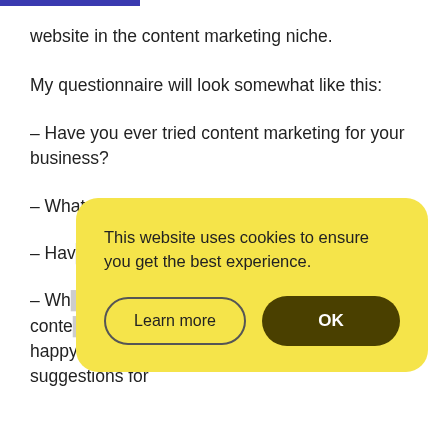website in the content marketing niche.
My questionnaire will look somewhat like this:
– Have you ever tried content marketing for your business?
– What are some pain points you've faced?
– Have you ever tried [partially obscured] automation [partially obscured] process [partially obscured]
– What are some [partially obscured] or content [partially obscured] you happy with them and do you have any suggestions for
This website uses cookies to ensure you get the best experience.
Learn more
OK